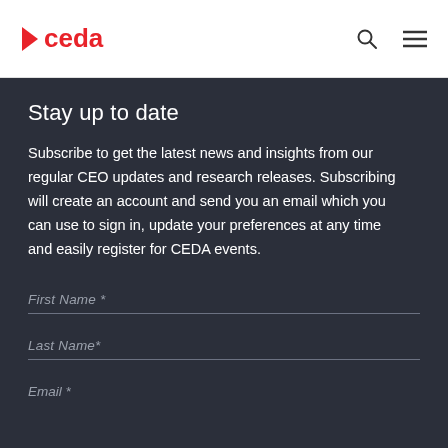>ceda
Stay up to date
Subscribe to get the latest news and insights from our regular CEO updates and research releases. Subscribing will create an account and send you an email which you can use to sign in, update your preferences at any time and easily register for CEDA events.
First Name *
Last Name*
Email *